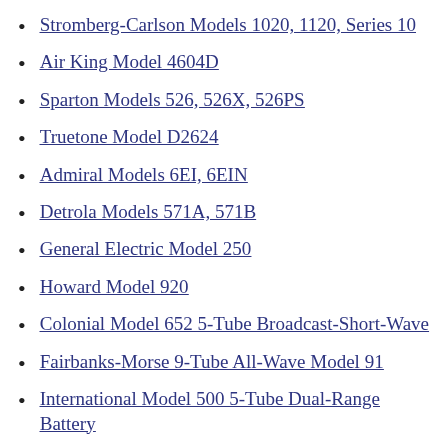Stromberg-Carlson Models 1020, 1120, Series 10
Air King Model 4604D
Sparton Models 526, 526X, 526PS
Truetone Model D2624
Admiral Models 6EI, 6EIN
Detrola Models 571A, 571B
General Electric Model 250
Howard Model 920
Colonial Model 652 5-Tube Broadcast-Short-Wave
Fairbanks-Morse 9-Tube All-Wave Model 91
International Model 500 5-Tube Dual-Range Battery